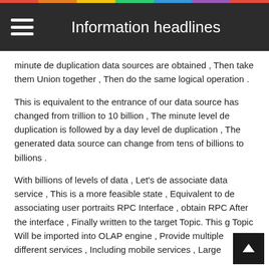Information headlines
minute de duplication data sources are obtained , Then take them Union together , Then do the same logical operation .
This is equivalent to the entrance of our data source has changed from trillion to 10 billion , The minute level de duplication is followed by a day level de duplication , The generated data source can change from tens of billions to billions .
With billions of levels of data , Let's de associate data service , This is a more feasible state , Equivalent to de associating user portraits RPC Interface , obtain RPC After the interface , Finally written to the target Topic. This g Topic Will be imported into OLAP engine , Provide multiple different services , Including mobile services , Large